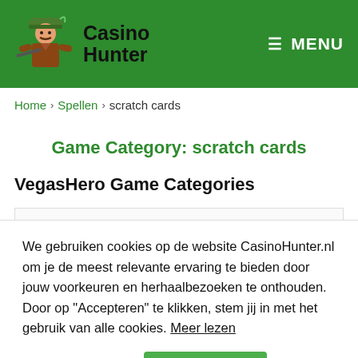Casino Hunter | MENU
Home > Spellen > scratch cards
Game Category: scratch cards
VegasHero Game Categories
We gebruiken cookies op de website CasinoHunter.nl om je de meest relevante ervaring te bieden door jouw voorkeuren en herhaalbezoeken te onthouden. Door op "Accepteren" te klikken, stem jij in met het gebruik van alle cookies. Meer lezen
Cookie instellingen | Accepteren